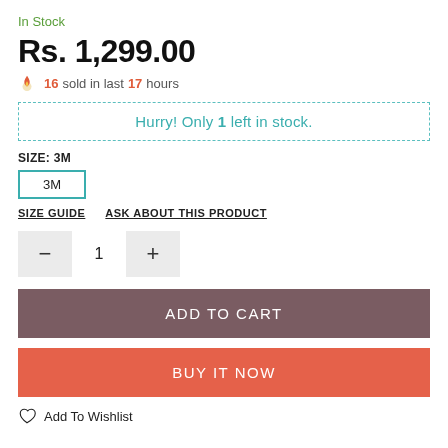In Stock
Rs. 1,299.00
16 sold in last 17 hours
Hurry! Only 1 left in stock.
SIZE: 3M
3M
SIZE GUIDE   ASK ABOUT THIS PRODUCT
− 1 +
ADD TO CART
BUY IT NOW
Add To Wishlist